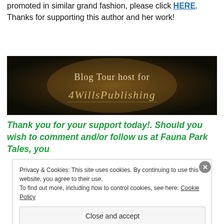you'd like to schedule your own blog tour and have your book promoted in similar grand fashion, please click HERE. Thanks for supporting this author and her work!
[Figure (illustration): Dark banner image with golden/brown glow in center. Text reads 'Blog Tour host for 4WillsPublishing' in elegant serif and script fonts.]
Thank you for your support today!. Should you wish to comment and/or follow us at Fauna Park Tales, you
Privacy & Cookies: This site uses cookies. By continuing to use this website, you agree to their use.
To find out more, including how to control cookies, see here: Cookie Policy
Close and accept